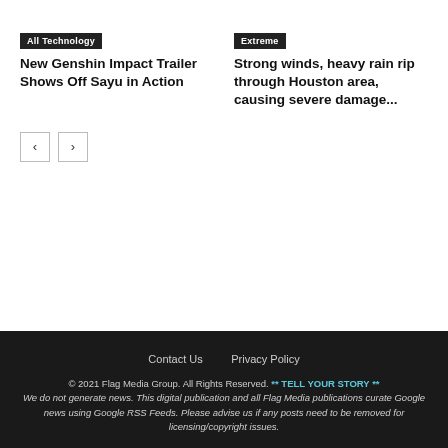All Technology
New Genshin Impact Trailer Shows Off Sayu in Action
Extreme
Strong winds, heavy rain rip through Houston area, causing severe damage...
Contact Us   Privacy Policy
© 2021 Flag Media Group. All Rights Reserved. ** TELL YOUR STORY ** We do not generate news. This digital publication and all Flag Media publications curate Google news using Google RSS Feeds. Please advise us if any posts need to be removed for licensing/copyright issues.